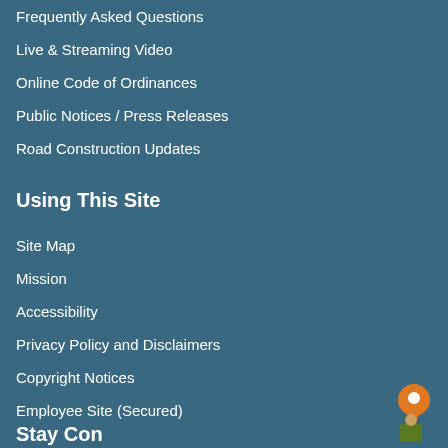Frequently Asked Questions
Live & Streaming Video
Online Code of Ordinances
Public Notices / Press Releases
Road Construction Updates
Using This Site
Site Map
Mission
Accessibility
Privacy Policy and Disclaimers
Copyright Notices
Employee Site (Secured)
[Figure (illustration): Orange location pin icon with person silhouette, and green person figure below, positioned bottom-right corner]
Stay Connected